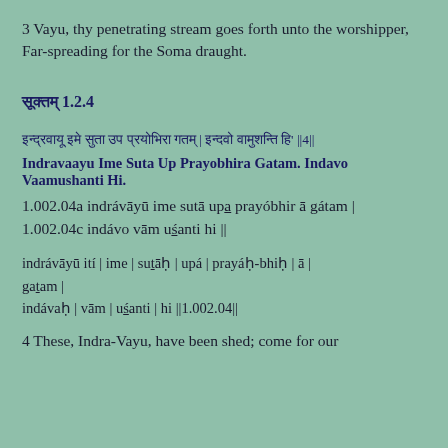3 Vayu, thy penetrating stream goes forth unto the worshipper,
Far-spreading for the Soma draught.
सूक्तम् 1.2.4
इन्द्रवायू इमे सुता उप प्रयोभिरा गतम् | इन्दवो वामुशन्ति हि' ||4||
Indravaayu Ime Suta Up Prayobhira Gatam. Indavo Vaamushanti Hi.
1.002.04a indrávāyū ime sutā upá prayóbhir ā gátam |
1.002.04c indávo vām uśanti hi ||
indrávāyū ití | ime | sutāh | upá | prayáh-bhih | ā |
gatam |
indávaḥ | vām | uśanti | hi ||1.002.04||
4 These, Indra-Vayu, have been shed; come for our